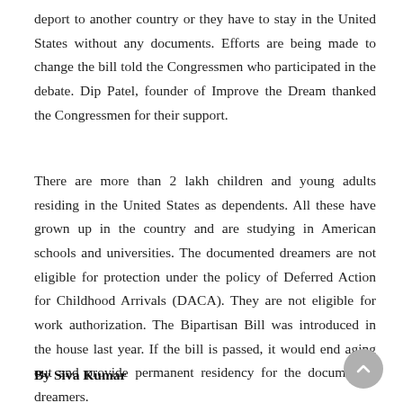deport to another country or they have to stay in the United States without any documents. Efforts are being made to change the bill told the Congressmen who participated in the debate. Dip Patel, founder of Improve the Dream thanked the Congressmen for their support.
There are more than 2 lakh children and young adults residing in the United States as dependents. All these have grown up in the country and are studying in American schools and universities. The documented dreamers are not eligible for protection under the policy of Deferred Action for Childhood Arrivals (DACA). They are not eligible for work authorization. The Bipartisan Bill was introduced in the house last year. If the bill is passed, it would end aging out and provide permanent residency for the documented dreamers.
By Siva Kumar